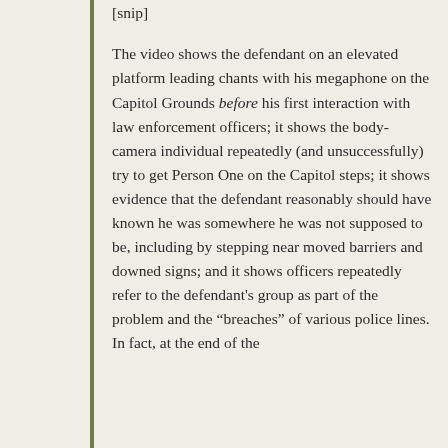[snip]
The video shows the defendant on an elevated platform leading chants with his megaphone on the Capitol Grounds before his first interaction with law enforcement officers; it shows the body-camera individual repeatedly (and unsuccessfully) try to get Person One on the Capitol steps; it shows evidence that the defendant reasonably should have known he was somewhere he was not supposed to be, including by stepping near moved barriers and downed signs; and it shows officers repeatedly refer to the defendant's group as part of the problem and the “breaches” of various police lines. In fact, at the end of the